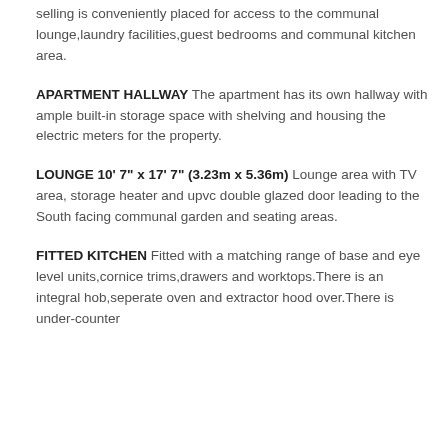side of the property are the access points to get into the building.There is a lift to all floors and the apartment we are selling is conveniently placed for access to the communal lounge,laundry facilities,guest bedrooms and communal kitchen area.
APARTMENT HALLWAY The apartment has its own hallway with ample built-in storage space with shelving and housing the electric meters for the property.
LOUNGE 10' 7" x 17' 7" (3.23m x 5.36m) Lounge area with TV area, storage heater and upvc double glazed door leading to the South facing communal garden and seating areas.
FITTED KITCHEN Fitted with a matching range of base and eye level units,cornice trims,drawers and worktops.There is an integral hob,seperate oven and extractor hood over.There is under-counter